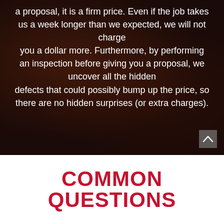a proposal, it is a firm price. Even if the job takes us a week longer than we expected, we will not charge you a dollar more. Furthermore, by performing an inspection before giving you a proposal, we uncover all the hidden defects that could possibly bump up the price, so there are no hidden surprises (or extra charges).
COMMON QUESTIONS